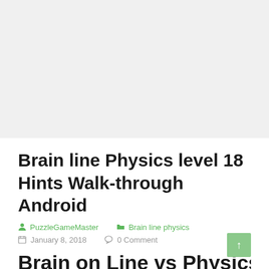[Figure (other): Advertisement or empty banner block (gray background)]
Brain line Physics level 18 Hints Walk-through Android
PuzzleGameMaster   Brain line physics
January 8, 2018   0 Comment
Brain on Line vs Physics